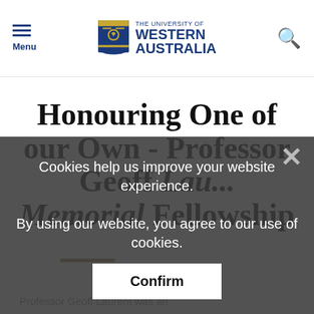Menu | The University of Western Australia
Honouring One of our Own - Professor Geoff Lau... Memorial Fellowship
Cookies help us improve your website experience. By using our website, you agree to our use of cookies.
Confirm
Professor Geoff Laurent was an